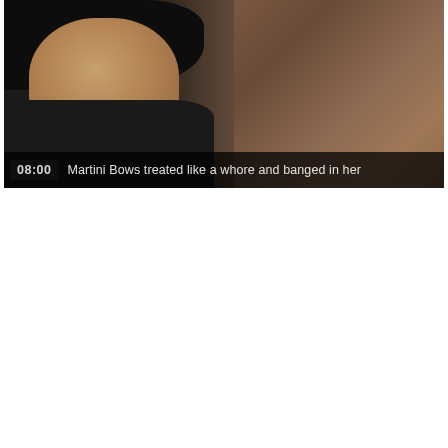[Figure (photo): Video thumbnail showing a woman with dark hair against a dark/brown background, with a semi-transparent overlay bar at the bottom showing timestamp '08:00' and the title text.]
08:00  Martini Bows treated like a whore and banged in her